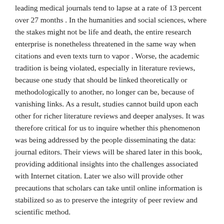leading medical journals tend to lapse at a rate of 13 percent over 27 months . In the humanities and social sciences, where the stakes might not be life and death, the entire research enterprise is nonetheless threatened in the same way when citations and even texts turn to vapor . Worse, the academic tradition is being violated, especially in literature reviews, because one study that should be linked theoretically or methodologically to another, no longer can be, because of vanishing links. As a result, studies cannot build upon each other for richer literature reviews and deeper analyses. It was therefore critical for us to inquire whether this phenomenon was being addressed by the people disseminating the data: journal editors. Their views will be shared later in this book, providing additional insights into the challenges associated with Internet citation. Later we also will provide other precautions that scholars can take until online information is stabilized so as to preserve the integrity of peer review and scientific method.
Specifically, the present book focuses on nine leading journals in the area of journalism and communication. Using longitudinal